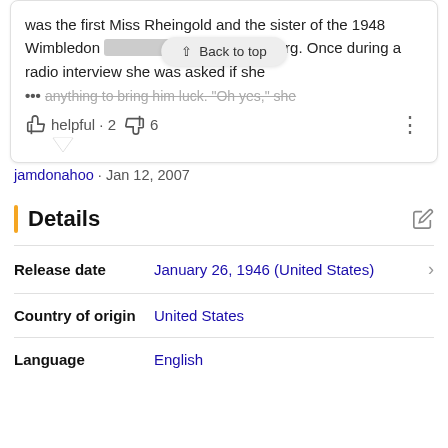was the first Miss Rheingold and the sister of the 1948 Wimbledon [champion] Bob Falkenburg. Once during a radio interview she was asked if she ... anything to bring him luck. "Oh yes," she
helpful · 2  6
jamdonahoo · Jan 12, 2007
Details
| Field | Value |
| --- | --- |
| Release date | January 26, 1946 (United States) |
| Country of origin | United States |
| Language | English |